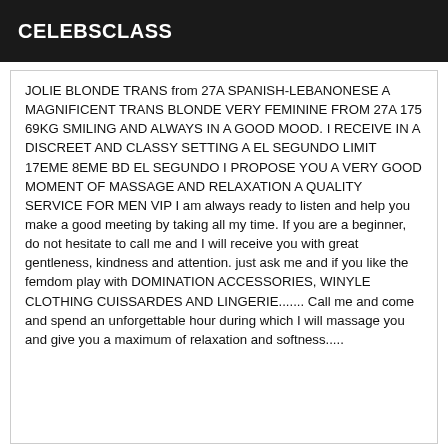CELEBSCLASS
JOLIE BLONDE TRANS from 27A SPANISH-LEBANONESE A MAGNIFICENT TRANS BLONDE VERY FEMININE FROM 27A 175 69KG SMILING AND ALWAYS IN A GOOD MOOD. I RECEIVE IN A DISCREET AND CLASSY SETTING A EL SEGUNDO LIMIT 17EME 8EME BD EL SEGUNDO I PROPOSE YOU A VERY GOOD MOMENT OF MASSAGE AND RELAXATION A QUALITY SERVICE FOR MEN VIP I am always ready to listen and help you make a good meeting by taking all my time. If you are a beginner, do not hesitate to call me and I will receive you with great gentleness, kindness and attention. just ask me and if you like the femdom play with DOMINATION ACCESSORIES, WINYLE CLOTHING CUISSARDES AND LINGERIE....... Call me and come and spend an unforgettable hour during which I will massage you and give you a maximum of relaxation and softness.....